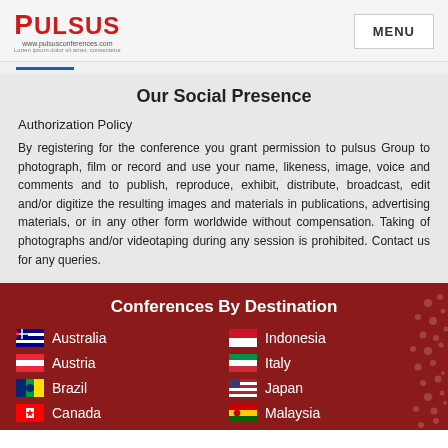PULSUS | MENU
Our Social Presence
Authorization Policy
By registering for the conference you grant permission to pulsus Group to photograph, film or record and use your name, likeness, image, voice and comments and to publish, reproduce, exhibit, distribute, broadcast, edit and/or digitize the resulting images and materials in publications, advertising materials, or in any other form worldwide without compensation. Taking of photographs and/or videotaping during any session is prohibited. Contact us for any queries.
Conferences By Destination
Australia
Indonesia
Austria
Italy
Brazil
Japan
Canada
Malaysia